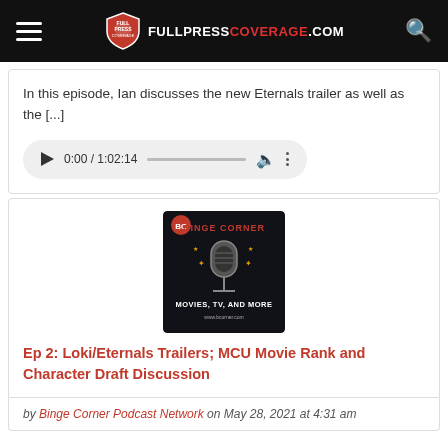FULLPRESS COVERAGE .COM
In this episode, Ian discusses the new Eternals trailer as well as the [...]
[Figure (screenshot): Audio player widget showing 0:00 / 1:02:14 with play button, progress bar, volume icon, and more options icon]
[Figure (screenshot): Binge Corner podcast logo: dark background with retro microphone, text reads BINGE CORNER MOVIES, TV, AND MORE]
Ep 2: Loki/Eternals Trailers; MCU Movie Rank and Character Draft Discussion
by Binge Corner Podcast Network on May 28, 2021 at 4:31 am